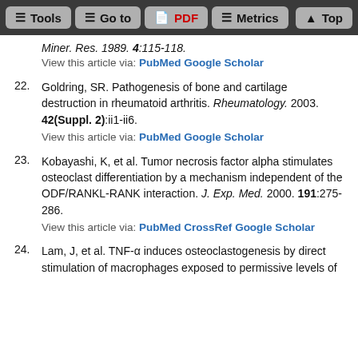Tools  Go to  PDF  Metrics  Top
Miner. Res. 1989. 4:115-118.
View this article via: PubMed Google Scholar
22. Goldring, SR. Pathogenesis of bone and cartilage destruction in rheumatoid arthritis. Rheumatology. 2003. 42(Suppl. 2):ii1-ii6. View this article via: PubMed Google Scholar
23. Kobayashi, K, et al. Tumor necrosis factor alpha stimulates osteoclast differentiation by a mechanism independent of the ODF/RANKL-RANK interaction. J. Exp. Med. 2000. 191:275-286. View this article via: PubMed CrossRef Google Scholar
24. Lam, J, et al. TNF-α induces osteoclastogenesis by direct stimulation of macrophages exposed to permissive levels of